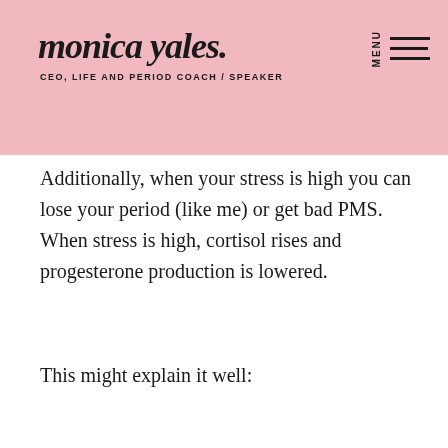monica yales. CEO, LIFE AND PERIOD COACH / SPEAKER
Additionally, when your stress is high you can lose your period (like me) or get bad PMS. When stress is high, cortisol rises and progesterone production is lowered.
This might explain it well: